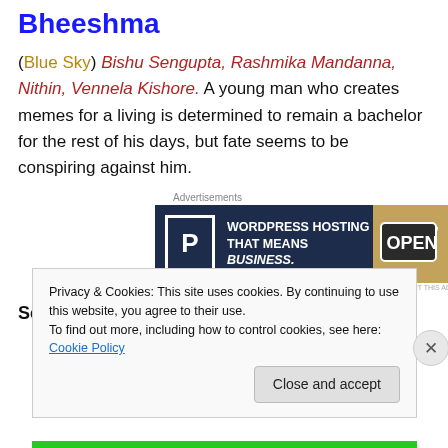Bheeshma
(Blue Sky) Bishu Sengupta, Rashmika Mandanna, Nithin, Vennela Kishore. A young man who creates memes for a living is determined to remain a bachelor for the rest of his days, but fate seems to be conspiring against him.
[Figure (screenshot): Advertisement banner: WordPress Hosting That Means Business. Shows a parking P icon, bold white text on dark navy background, and a photo of an Open sign.]
See the trailer here
Privacy & Cookies: This site uses cookies. By continuing to use this website, you agree to their use.
To find out more, including how to control cookies, see here: Cookie Policy
Close and accept